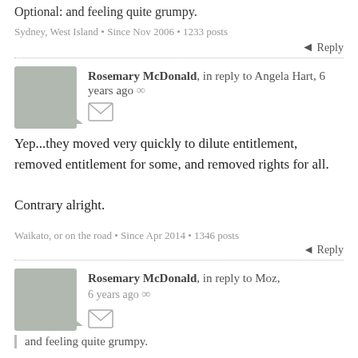Optional: and feeling quite grumpy.
Sydney, West Island • Since Nov 2006 • 1233 posts
↩ Reply
Rosemary McDonald, in reply to Angela Hart, 6 years ago ∞
Yep...they moved very quickly to dilute entitlement, removed entitlement for some, and removed rights for all.

Contrary alright.
Waikato, or on the road • Since Apr 2014 • 1346 posts
↩ Reply
Rosemary McDonald, in reply to Moz, 6 years ago ∞
and feeling quite grumpy.
Me too.
I am telling my self that my nearly eight years of